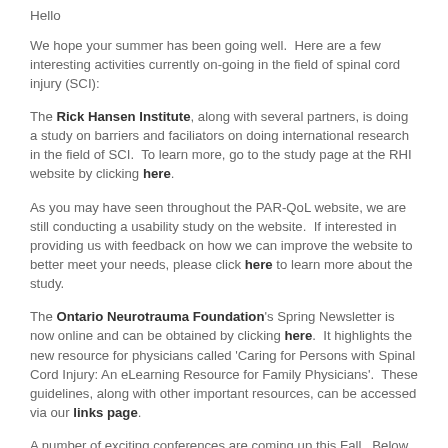Hello
We hope your summer has been going well.  Here are a few interesting activities currently on-going in the field of spinal cord injury (SCI):
The Rick Hansen Institute, along with several partners, is doing a study on barriers and faciliators on doing international research in the field of SCI.  To learn more, go to the study page at the RHI website by clicking here.
As you may have seen throughout the PAR-QoL website, we are still conducting a usability study on the website.  If interested in providing us with feedback on how we can improve the website to better meet your needs, please click here to learn more about the study.
The Ontario Neurotrauma Foundation's Spring Newsletter is now online and can be obtained by clicking here.  It highlights the new resource for physicians called 'Caring for Persons with Spinal Cord Injury: An eLearning Resource for Family Physicians'.  These guidelines, along with other important resources, can be accessed via our links page.
A number of exciting conferences are coming up this Fall.  Below is a